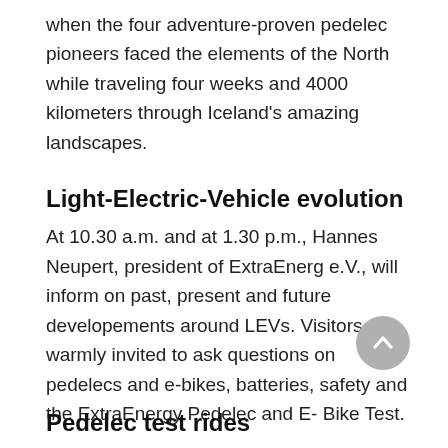when the four adventure-proven pedelec pioneers faced the elements of the North while traveling four weeks and 4000 kilometers through Iceland's amazing landscapes.
Light-Electric-Vehicle evolution
At 10.30 a.m. and at 1.30 p.m., Hannes Neupert, president of ExtraEnerg e.V., will inform on past, present and future developements around LEVs. Visitors are warmly invited to ask questions on pedelecs and e-bikes, batteries, safety and the ExtraEnergy Pedelec and E- Bike Test.
Pedelec test rides